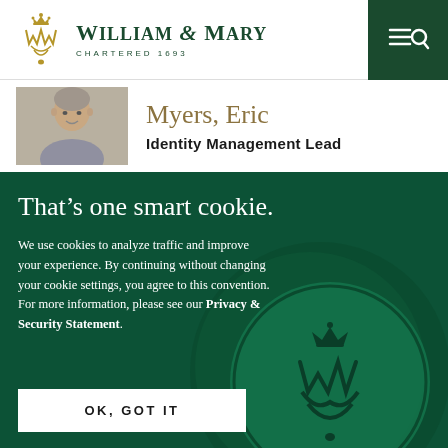[Figure (logo): William & Mary logo with gold emblem and green text, Chartered 1693]
[Figure (photo): Headshot photo of Eric Myers, a middle-aged man with gray hair]
Myers, Eric
Identity Management Lead
That’s one smart cookie.
We use cookies to analyze traffic and improve your experience. By continuing without changing your cookie settings, you agree to this convention. For more information, please see our Privacy & Security Statement.
OK, GOT IT